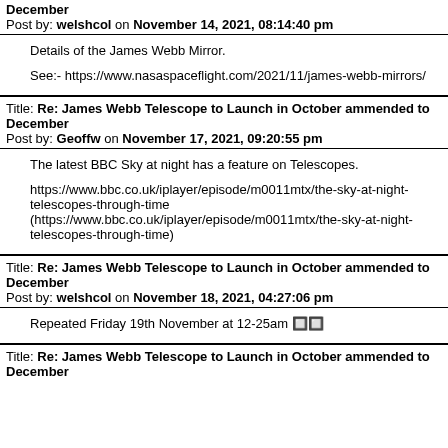December
Post by: welshcol on November 14, 2021, 08:14:40 pm
Details of the James Webb Mirror.

See:- https://www.nasaspaceflight.com/2021/11/james-webb-mirrors/
Title: Re: James Webb Telescope to Launch in October ammended to December
Post by: Geoffw on November 17, 2021, 09:20:55 pm
The latest BBC Sky at night has a feature on Telescopes.

https://www.bbc.co.uk/iplayer/episode/m0011mtx/the-sky-at-night-telescopes-through-time
(https://www.bbc.co.uk/iplayer/episode/m0011mtx/the-sky-at-night-telescopes-through-time)
Title: Re: James Webb Telescope to Launch in October ammended to December
Post by: welshcol on November 18, 2021, 04:27:06 pm
Repeated Friday 19th November at 12-25am 🔲🔲
Title: Re: James Webb Telescope to Launch in October ammended to December